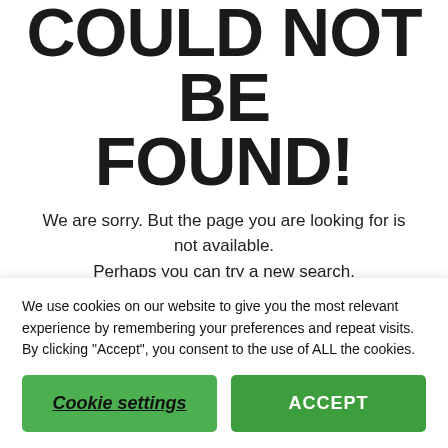COULD NOT BE FOUND!
We are sorry. But the page you are looking for is not available.
Perhaps you can try a new search.
We use cookies on our website to give you the most relevant experience by remembering your preferences and repeat visits. By clicking “Accept”, you consent to the use of ALL the cookies.